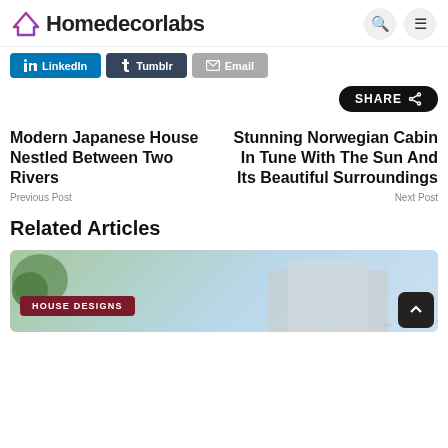Homedecorlabs
[Figure (screenshot): LinkedIn, Tumblr, Email share buttons row]
[Figure (other): SHARE button with share icon]
Modern Japanese House Nestled Between Two Rivers
Previous Post
Stunning Norwegian Cabin In Tune With The Sun And Its Beautiful Surroundings
Next Post
Related Articles
[Figure (photo): House exterior photo with HOUSE DESIGNS badge overlay]